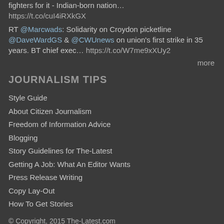fighters for it - Indian-born nation…
https://t.co/cuI4iRXkGX
RT @Marcwads: Solidarity on Croydon picketline @DaveWardGS & @CWUnews on union's first strike in 35 years. BT chief exec… https://t.co/W7me9xXUy2
more
JOURNALISM TIPS
Style Guide
About Citizen Journalism
Freedom of Information Advice
Blogging
Story Guidelines for The-Latest
Getting A Job: What An Editor Wants
Press Release Writing
Copy Lay-Out
How To Get Stories
© Copyright, 2015 The-Latest.com
The-Latest.com is not intended for readers or contributors under 18 years of age. All copyrights and trademarks on this page are owned by The-Latest and